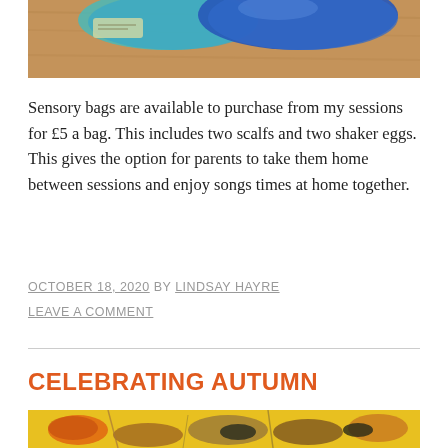[Figure (photo): Top portion of a photo showing colorful sensory bags (blue and teal) on a wooden surface]
Sensory bags are available to purchase from my sessions for £5 a bag. This includes two scalfs and two shaker eggs. This gives the option for parents to take them home between sessions and enjoy songs times at home together.
OCTOBER 18, 2020 BY LINDSAY HAYRE
LEAVE A COMMENT
CELEBRATING AUTUMN
[Figure (photo): Bottom portion showing autumn leaves and natural materials on a yellow background]